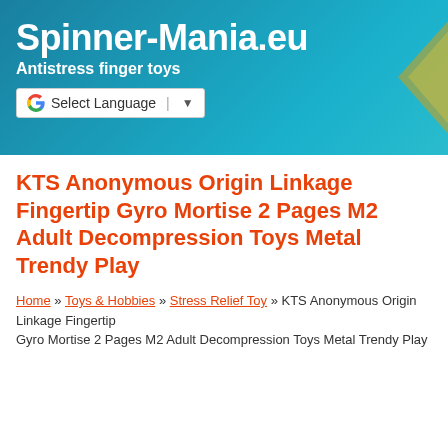Spinner-Mania.eu — Antistress finger toys
KTS Anonymous Origin Linkage Fingertip Gyro Mortise 2 Pages M2 Adult Decompression Toys Metal Trendy Play
Home » Toys & Hobbies » Stress Relief Toy » KTS Anonymous Origin Linkage Fingertip Gyro Mortise 2 Pages M2 Adult Decompression Toys Metal Trendy Play